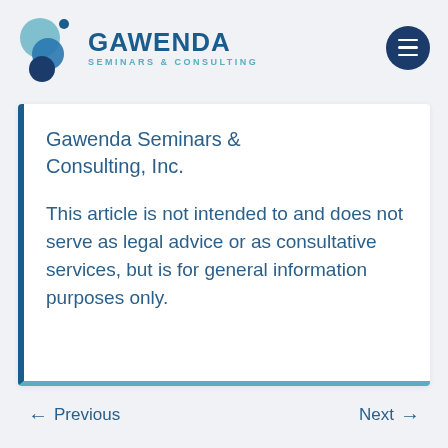[Figure (logo): Gawenda Seminars & Consulting logo with teal and blue circular icons and company name]
Gawenda Seminars & Consulting, Inc.
This article is not intended to and does not serve as legal advice or as consultative services, but is for general information purposes only.
← Previous   → Next